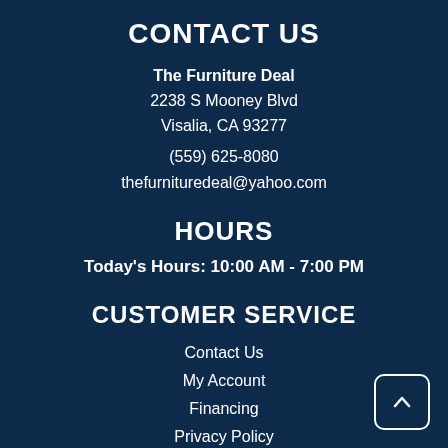CONTACT US
The Furniture Deal
2238 S Mooney Blvd
Visalia, CA 93277
(559) 625-8080
thefurnituredeal@yahoo.com
HOURS
Today's Hours: 10:00 AM - 7:00 PM
CUSTOMER SERVICE
Contact Us
My Account
Financing
Privacy Policy
Terms of Service